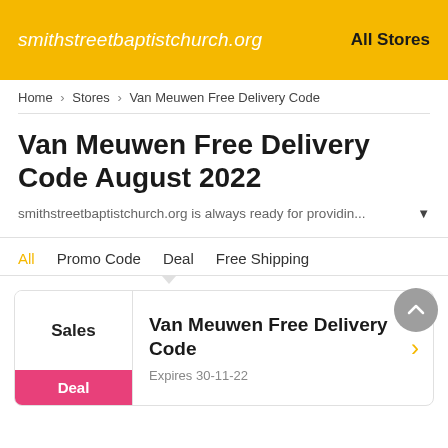smithstreetbaptistchurch.org   All Stores
Home > Stores > Van Meuwen Free Delivery Code
Van Meuwen Free Delivery Code August 2022
smithstreetbaptistchurch.org is always ready for providin... ▼
All
Promo Code
Deal
Free Shipping
Sales
Deal
Van Meuwen Free Delivery Code
Expires 30-11-22